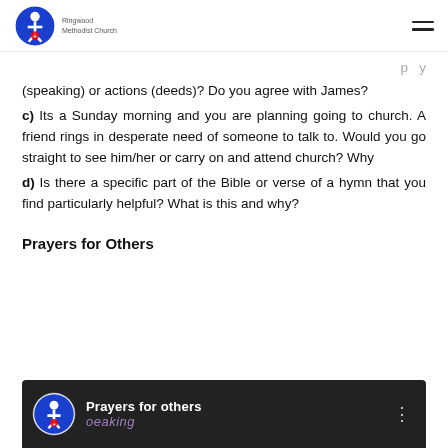Ringwood Methodist Church
(speaking) or actions (deeds)? Do you agree with James?
c) Its a Sunday morning and you are planning going to church. A friend rings in desperate need of someone to talk to. Would you go straight to see him/her or carry on and attend church? Why
d) Is there a specific part of the Bible or verse of a hymn that you find particularly helpful? What is this and why?
Prayers for Others
[Figure (screenshot): Video thumbnail showing a circular logo of Ringwood Methodist Church on a dark background with the text 'Prayers for others' in white and 'oeaking' in purple text below, with a three-dot menu icon on the right.]